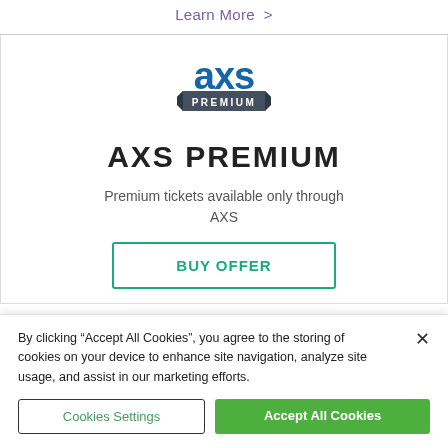Learn More >
[Figure (logo): AXS Premium logo: 'axs' in blue letters with 'PREMIUM' in a dark grey banner ribbon below]
AXS PREMIUM
Premium tickets available only through AXS
BUY OFFER
By clicking "Accept All Cookies", you agree to the storing of cookies on your device to enhance site navigation, analyze site usage, and assist in our marketing efforts.
Cookies Settings
Accept All Cookies